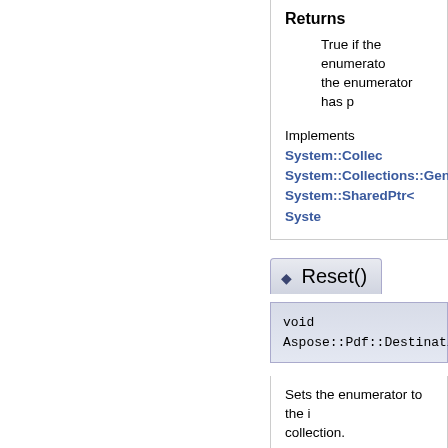Returns
True if the enumerator the enumerator has p
Implements System::Collec System::Collections::Gene System::SharedPtr< Syste
◆ Reset()
void Aspose::Pdf::DestinationColl
Sets the enumerator to the i collection. Reimplemented from Syster System::Collections::Gene System::SharedPtr< Syste